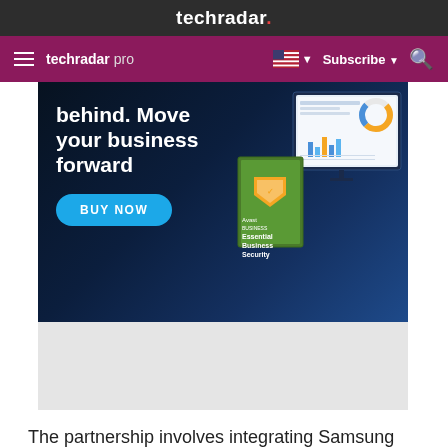techradar.
techradar pro  Subscribe
[Figure (photo): Avast Business Essential Business Security advertisement banner showing text 'behind. Move your business forward' with a BUY NOW button and product box/monitor imagery on a dark blue background]
The partnership involves integrating Samsung KNOX with BlackBerry's new services: WorkLife by BlackBerry and SecuSuite. Businesses that choose Samsung as a